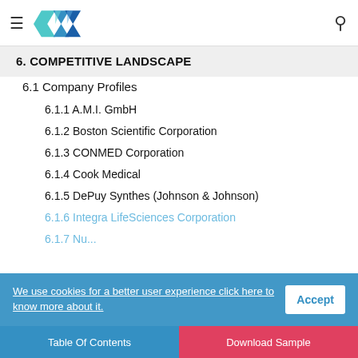Navigation header with logo and search icon
6. COMPETITIVE LANDSCAPE
6.1 Company Profiles
6.1.1 A.M.I. GmbH
6.1.2 Boston Scientific Corporation
6.1.3 CONMED Corporation
6.1.4 Cook Medical
6.1.5 DePuy Synthes (Johnson & Johnson)
6.1.6 Integra LifeSciences Corporation
6.1.7 Nu...
We use cookies for a better user experience click here to know more about it.
Table Of Contents | Download Sample